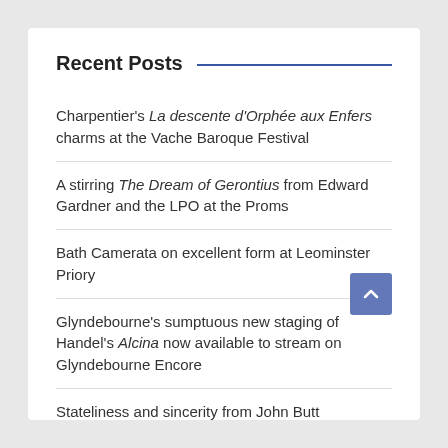Recent Posts
Charpentier's La descente d'Orphée aux Enfers charms at the Vache Baroque Festival
A stirring The Dream of Gerontius from Edward Gardner and the LPO at the Proms
Bath Camerata on excellent form at Leominster Priory
Glyndebourne's sumptuous new staging of Handel's Alcina now available to stream on Glyndebourne Encore
Stateliness and sincerity from John Butt and the OAE: Bach's Mass in B Minor at the Proms